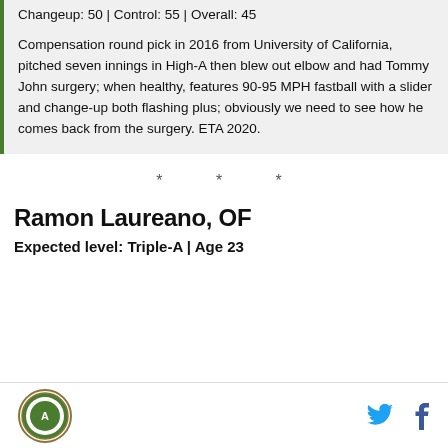Changeup: 50 | Control: 55 | Overall: 45
Compensation round pick in 2016 from University of California, pitched seven innings in High-A then blew out elbow and had Tommy John surgery; when healthy, features 90-95 MPH fastball with a slider and change-up both flashing plus; obviously we need to see how he comes back from the surgery. ETA 2020.
* * *
Ramon Laureano, OF
Expected level: Triple-A | Age 23
Athletics logo | Twitter | Facebook